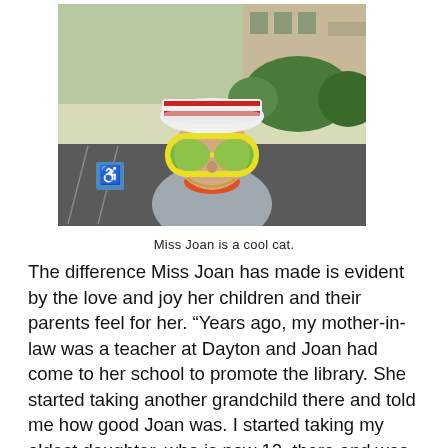[Figure (photo): A woman wearing large novelty yellow-framed green sunglasses and a red, white striped hat, standing outdoors near a parking lot and brick building with green bushes in the background.]
Miss Joan is a cool cat.
The difference Miss Joan has made is evident by the love and joy her children and their parents feel for her. “Years ago, my mother-in-law was a teacher at Dayton and Joan had come to her school to promote the library. She started taking another grandchild there and told me how good Joan was. I started taking my oldest daughter, who is now 12, there and was so impressed by Joan. Her love of books and her energy kept the kids’ attention and mine too. She made that 45 minutes so entertaining for the kids. I have no doubt she loved what she did and